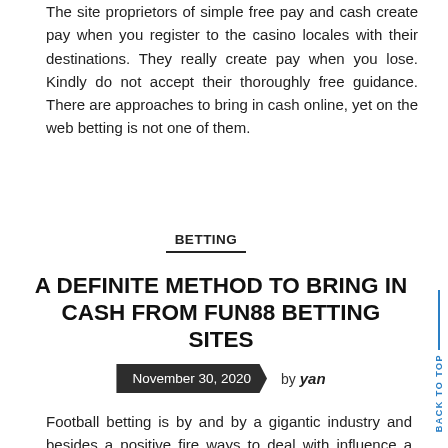The site proprietors of simple free pay and cash create pay when you register to the casino locales with their destinations. They really create pay when you lose. Kindly do not accept their thoroughly free guidance. There are approaches to bring in cash online, yet on the web betting is not one of them.
BETTING
A DEFINITE METHOD TO BRING IN CASH FROM FUN88 BETTING SITES
November 30, 2020  by yan
BACK TO TOP
Football betting is by and by a gigantic industry and besides a positive fire ways to deal with influence a compensation, to be it a discretionary